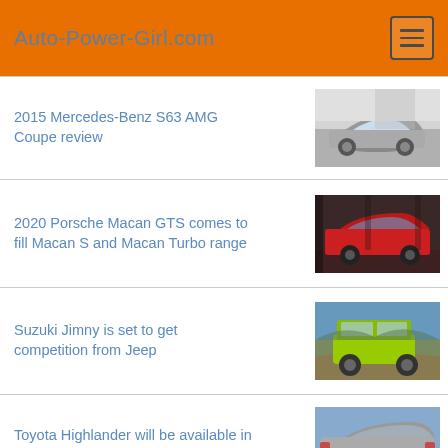Auto-Power-Girl.com
2015 Mercedes-Benz S63 AMG Coupe review
[Figure (photo): Silver Mercedes-Benz S63 AMG Coupe side profile in a studio/outdoor setting]
2020 Porsche Macan GTS comes to fill Macan S and Macan Turbo range
[Figure (photo): Red Porsche Macan GTS parked indoors under dramatic lighting]
Suzuki Jimny is set to get competition from Jeep
[Figure (photo): Lime green Suzuki Jimny on rocky terrain outdoors]
Toyota Highlander will be available in petrol only or hybrid powertrain
[Figure (photo): Grey Toyota Highlander SUV rear three-quarter view on a road]